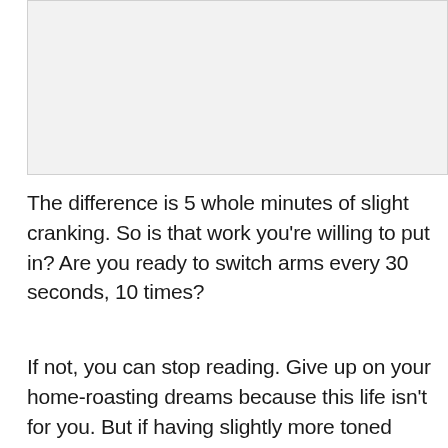[Figure (photo): Light grey rectangular image placeholder area at the top of the page]
The difference is 5 whole minutes of slight cranking. So is that work you're willing to put in? Are you ready to switch arms every 30 seconds, 10 times?
If not, you can stop reading. Give up on your home-roasting dreams because this life isn't for you. But if having slightly more toned arms is something you think you can live with, by all